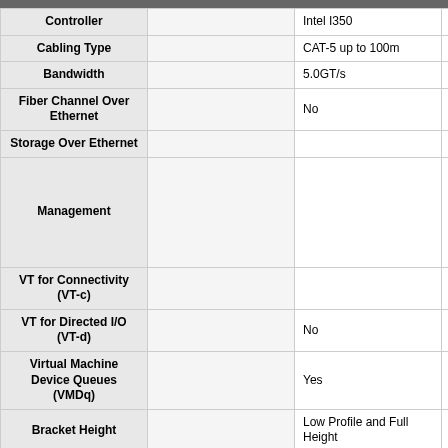|  |  | Col1 | Col2 |
| --- | --- | --- | --- |
| Controller |  | Intel I350 | Intel I3… |
| Cabling Type |  | CAT-5 up to 100m | CAT-5… |
| Bandwidth |  | 5.0GT/s | 5.0GT… |
| Fiber Channel Over Ethernet |  | No | No |
| Storage Over Ethernet |  |  |  |
| Management |  |  |  |
| VT for Connectivity (VT-c) |  |  |  |
| VT for Directed I/O (VT-d) |  | No | No |
| Virtual Machine Device Queues (VMDq) |  | Yes | Yes |
| Bracket Height |  | Low Profile and Full Height | Low P… |
| Dimensions (H x L) |  | 2.71" x 5.33" | 2.71" x… |